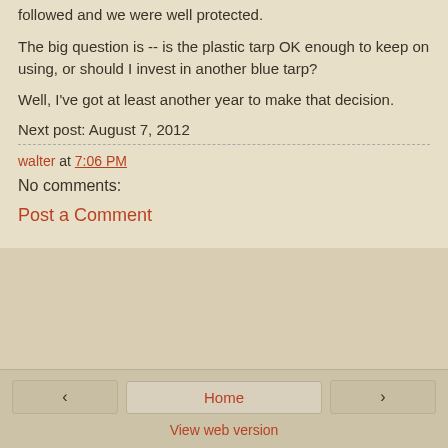followed and we were well protected.
The big question is -- is the plastic tarp OK enough to keep on using, or should I invest in another blue tarp?
Well, I've got at least another year to make that decision.
Next post: August 7, 2012
walter at 7:06 PM
No comments:
Post a Comment
‹  Home  ›  View web version